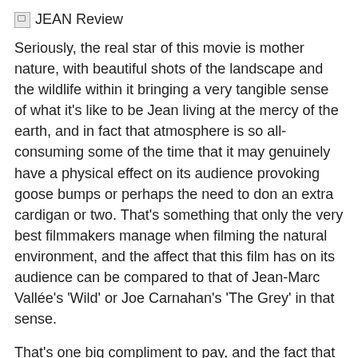JEAN Review
Seriously, the real star of this movie is mother nature, with beautiful shots of the landscape and the wildlife within it bringing a very tangible sense of what it's like to be Jean living at the mercy of the earth, and in fact that atmosphere is so all-consuming some of the time that it may genuinely have a physical effect on its audience provoking goose bumps or perhaps the need to don an extra cardigan or two. That's something that only the very best filmmakers manage when filming the natural environment, and the affect that this film has on its audience can be compared to that of Jean-Marc Vallée's 'Wild' or Joe Carnahan's 'The Grey' in that sense.
That's one big compliment to pay, and the fact that this particular picture was made on such a comparatively small budget to those incredible